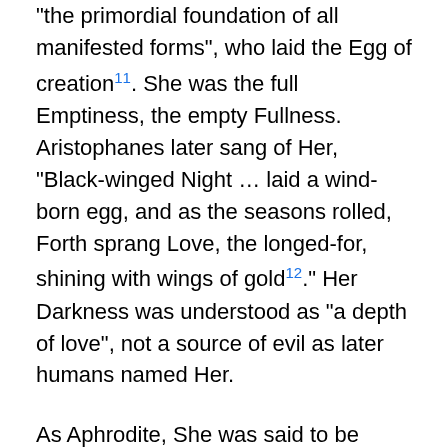“the primordial foundation of all manifested forms”, who laid the Egg of creation¹¹. She was the full Emptiness, the empty Fullness. Aristophanes later sang of Her, “Black-winged Night … laid a wind-born egg, and as the seasons rolled, Forth sprang Love, the longed-for, shining with wings of gold¹².” Her Darkness was understood as “a depth of love”, not a source of evil as later humans named Her.
As Aphrodite, She was said to be older than time. Aphrodite as humans once knew Her, was no mere sex goddess; She was once a Virgin-Mother-Crone trinity, and indistinguishable from the Fates and their power – perhaps more powerful. Aphrodite was “multivalent”, had many names. This was characteristic of most Goddesses because the religion of the time was oral, and the stories of the diverse manifestations of the Ultimate Principle